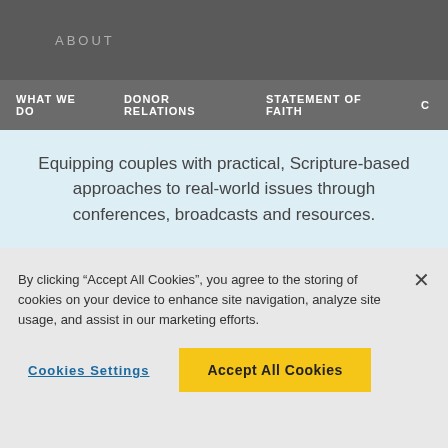ABOUT
WHAT WE DO   DONOR RELATIONS   STATEMENT OF FAITH   C
Equipping couples with practical, Scripture-based approaches to real-world issues through conferences, broadcasts and resources.
LEARN MORE
By clicking “Accept All Cookies”, you agree to the storing of cookies on your device to enhance site navigation, analyze site usage, and assist in our marketing efforts.
Cookies Settings
Accept All Cookies